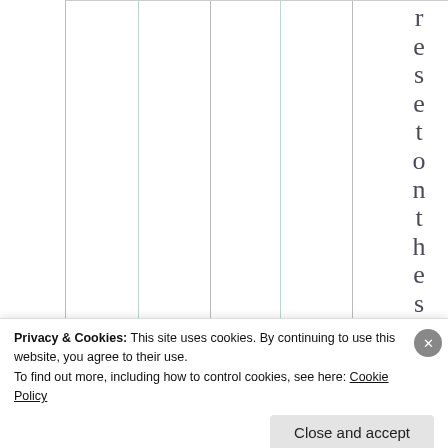resetonthes
Privacy & Cookies: This site uses cookies. By continuing to use this website, you agree to their use.
To find out more, including how to control cookies, see here: Cookie Policy
Close and accept